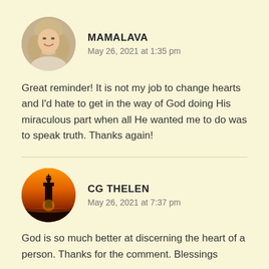[Figure (photo): Circular avatar photo of a woman with blonde/gray hair smiling]
MAMALAVA
May 26, 2021 at 1:35 pm
Great reminder! It is not my job to change hearts and I'd hate to get in the way of God doing His miraculous part when all He wanted me to do was to speak truth. Thanks again!
[Figure (photo): Circular avatar photo of a lighthouse silhouette against an orange sunset sky]
CG THELEN
May 26, 2021 at 7:37 pm
God is so much better at discerning the heart of a person. Thanks for the comment. Blessings